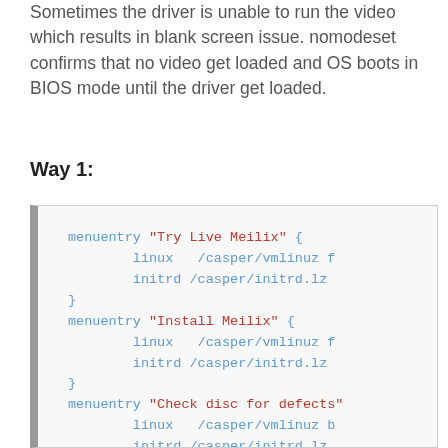Sometimes the driver is unable to run the video which results in blank screen issue. nomodeset confirms that no video get loaded and OS boots in BIOS mode until the driver get loaded.
Way 1:
[Figure (screenshot): Code block showing GRUB menuentry configuration for 'Try Live Meilix', 'Install Meilix', and 'Check disc for defects' entries with linux and initrd lines.]